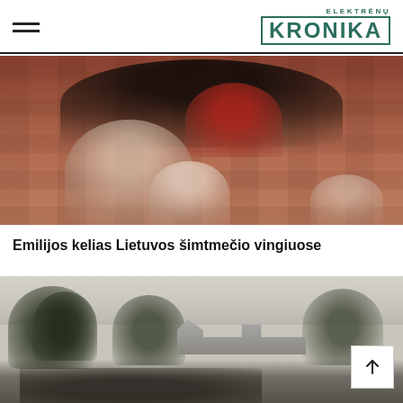ELEKTRĖNŲ KRONIKA
[Figure (photo): Family group photo in front of a brick wall. Two women standing in back, an elderly person seated in front center with a young child, and another child partially visible at right.]
Emilijos kelias Lietuvos šimtmečio vingiuose
[Figure (photo): Black and white historical photograph of a rural Lithuanian landscape with trees, wooden farmhouses/buildings, and a gathering of people in the foreground.]